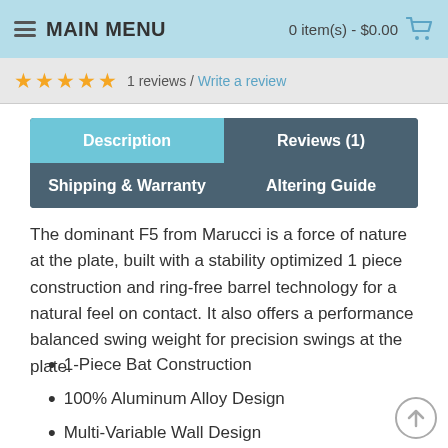MAIN MENU   0 item(s) - $0.00
★★★★★  1 reviews / Write a review
Description | Reviews (1) | Shipping & Warranty | Altering Guide
The dominant F5 from Marucci is a force of nature at the plate, built with a stability optimized 1 piece construction and ring-free barrel technology for a natural feel on contact. It also offers a performance balanced swing weight for precision swings at the plate.
1-Piece Bat Construction
100% Aluminum Alloy Design
Multi-Variable Wall Design